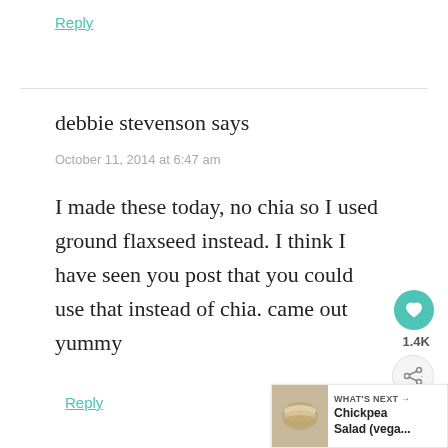Reply
debbie stevenson says
October 11, 2014 at 6:47 am
I made these today, no chia so I used ground flaxseed instead. I think I have seen you post that you could use that instead of chia. came out yummy
Reply
[Figure (infographic): Heart/like button (teal circle with heart icon) with count 1.4K, and a share button below it]
[Figure (infographic): What's Next widget showing a chickpea salad image thumbnail with text 'WHAT'S NEXT → Chickpea Salad (vega...']